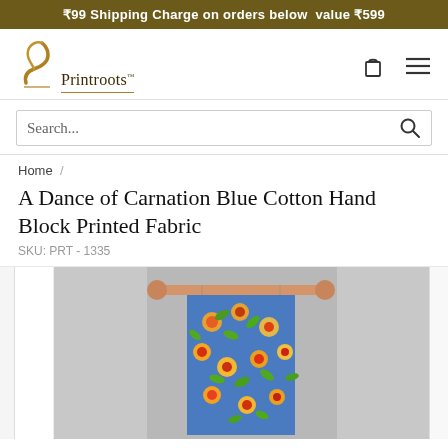₹99 Shipping Charge on orders below value ₹599
[Figure (logo): Printroots logo with stylized leaf/hook icon in gold and brand name 'Printroots' in serif font with gold underline]
Search...
Home /
A Dance of Carnation Blue Cotton Hand Block Printed Fabric
SKU: PRT - 1335
[Figure (photo): Rectangular blue cotton hand block printed fabric with floral and leaf motifs in orange, yellow, red and green colors, hung on a wooden dowel rod against a grey background]